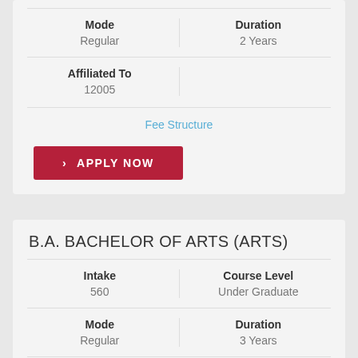| Mode | Duration |
| --- | --- |
| Regular | 2 Years |
| Affiliated To |  |
| --- | --- |
| 12005 |  |
Fee Structure
› APPLY NOW
B.A. BACHELOR OF ARTS (ARTS)
| Intake | Course Level |
| --- | --- |
| 560 | Under Graduate |
| Mode | Duration |
| --- | --- |
| Regular | 3 Years |
| Affiliated To |  |
| --- | --- |
| 12005 |  |